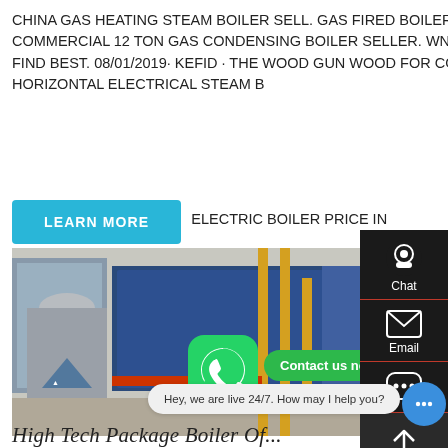CHINA GAS HEATING STEAM BOILER SELL. GAS FIRED BOILER SELLER IN OCEANIA - EPASSSCHOLARSHIPS.IN. COMMERCIAL 12 TON GAS CONDENSING BOILER SELLER. WNS HORIZONTAL GAS OIL FIRED 20 TON STEAM BOILER FIND BEST. 08/01/2019· KEFID · THE WOOD GUN WOOD FOR COMMERCIAL FIRED STEAM BOILER IS A HORIZONTAL ELECTRICAL STEAM BOILER ELECTRIC BOILER PRICE IN
[Figure (other): LEARN MORE button (blue/cyan rounded rectangle with white uppercase text)]
[Figure (photo): Industrial boiler room interior showing large blue industrial steam boilers, yellow pipes, and red burner equipment]
[Figure (other): Right sidebar with Chat, Email, and scroll-to-top icons on dark background]
[Figure (other): WhatsApp icon overlay with green Contact us now! bubble]
[Figure (other): Live chat bubble: Hey, we are live 24/7. How may I help you? with blue chat button]
High Tech Package Boiler Of...